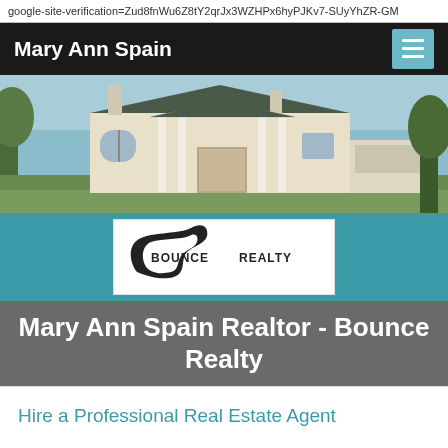google-site-verification=Zud8fnWu6Z8tY2qrJx3WZHPx6hyPJKv7-SUyYhZR-GM
Mary Ann Spain
[Figure (photo): Large white colonial-style house with green roof, columns at entrance, surrounded by green trees and lawn under blue sky]
[Figure (logo): Bounce Realty logo — black swoosh/rabbit shape around text BOUNCE REALTY on white background]
Mary Ann Spain Realtor - Bounce Realty
Hire a Professional Real Estate Agent